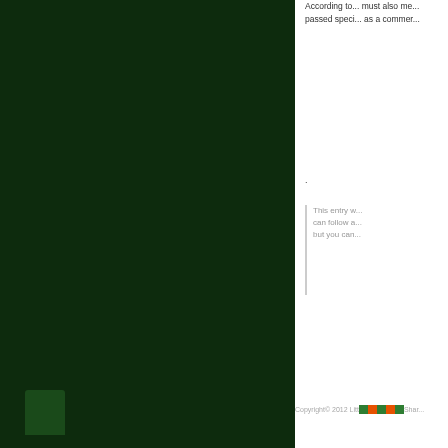[Figure (other): Dark green decorative left panel with darker accent block at bottom]
According to... must also me... passed speci... as a commer...
.
This entry w... can follow a... but you can...
Copyright© 2012 Little Shop of Shar...